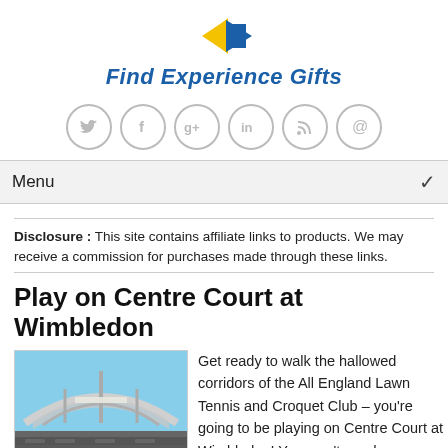[Figure (logo): Find Experience Gifts logo with yellow and blue arrow/chevron icon above bold italic blue text]
[Figure (infographic): Row of six social media icon circles: Twitter bird, Facebook f, Google+ g+, LinkedIn in, RSS feed, at-sign @]
Menu ✓
Disclosure : This site contains affiliate links to products. We may receive a commission for purchases made through these links.
Play on Centre Court at Wimbledon
[Figure (photo): Photograph of Wimbledon Centre Court roof structure with retractable roof panels visible against a blue sky]
Get ready to walk the hallowed corridors of the All England Lawn Tennis and Croquet Club – you're going to be playing on Centre Court at Wimbledon! You won't need your tennis whites for this experience though it's all about going retro